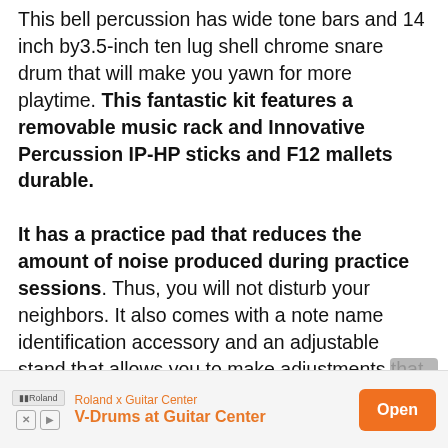This bell percussion has wide tone bars and 14 inch by3.5-inch ten lug shell chrome snare drum that will make you yawn for more playtime. This fantastic kit features a removable music rack and Innovative Percussion IP-HP sticks and F12 mallets durable.

It has a practice pad that reduces the amount of noise produced during practice sessions. Thus, you will not disturb your neighbors. It also comes with a note name identification accessory and an adjustable stand that allows you to make adjustments that suit you.
[Figure (other): Advertisement banner: Roland x Guitar Center - V-Drums at Guitar Center, with Open button]